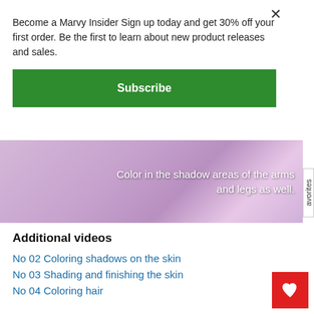Become a Marvy Insider Sign up today and get 30% off your first order. Be the first to learn about new product releases and sales.
Subscribe
[Figure (screenshot): Video thumbnail showing a hand coloring a drawing on lavender/purple background with text overlay: 'Color in the shadow areas of the arms and legs as well.']
Additional videos
No 02 Coloring shadows on the skin
No 03 Shading and finishing the skin
No 04 Coloring hair